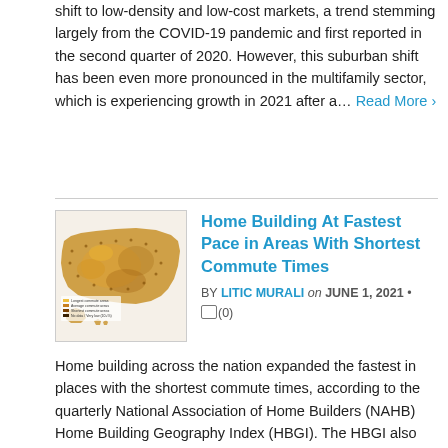shift to low-density and low-cost markets, a trend stemming largely from the COVID-19 pandemic and first reported in the second quarter of 2020. However, this suburban shift has been even more pronounced in the multifamily sector, which is experiencing growth in 2021 after a… Read More ›
[Figure (map): US map showing home building by commute time areas, shaded in gold/brown tones]
Home Building At Fastest Pace in Areas With Shortest Commute Times
BY LITIC MURALI on JUNE 1, 2021 • (0)
Home building across the nation expanded the fastest in places with the shortest commute times, according to the quarterly National Association of Home Builders (NAHB) Home Building Geography Index (HBGI). The HBGI also shows the suburban shift in new home construction to low density, low cost, and to typical commuted...